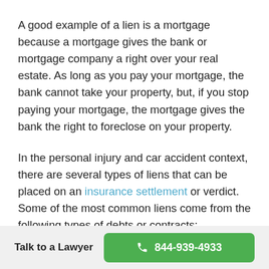A good example of a lien is a mortgage because a mortgage gives the bank or mortgage company a right over your real estate. As long as you pay your mortgage, the bank cannot take your property, but, if you stop paying your mortgage, the mortgage gives the bank the right to foreclose on your property.
In the personal injury and car accident context, there are several types of liens that can be placed on an insurance settlement or verdict. Some of the most common liens come from the following types of debts or contracts:
Talk to a Lawyer  844-939-4933